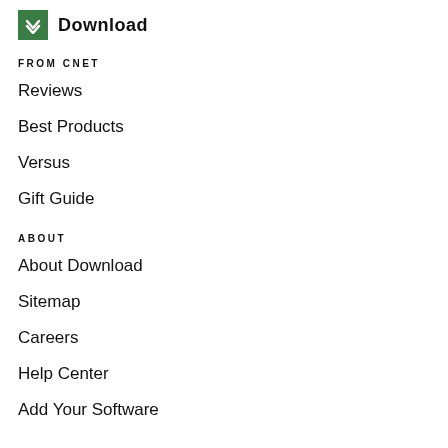Download
FROM CNET
Reviews
Best Products
Versus
Gift Guide
ABOUT
About Download
Sitemap
Careers
Help Center
Add Your Software